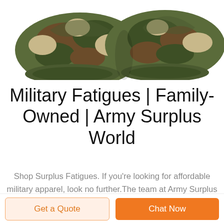[Figure (photo): Camouflage military hats/caps viewed from above, showing woodland camo pattern in green, brown, khaki colors, partially cropped at top of page]
Military Fatigues | Family-Owned | Army Surplus World
Shop Surplus Fatigues. If you're looking for affordable military apparel, look no further.The team at Army Surplus World has put together a vast and expansive collection of shirts, pants, boots, accessories, and more. Army surplus clothing is a must-have for a variety of
Get a Quote
Chat Now